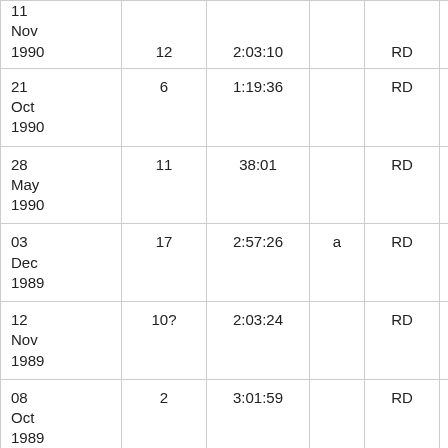| 11 Nov 1990 | 12 | 2:03:10 |  | RD | 30 km |
| 21 Oct 1990 | 6 | 1:19:36 |  | RD | Half Mara |
| 28 May 1990 | 11 | 38:01 |  | RD | 10 km |
| 03 Dec 1989 | 17 | 2:57:26 | a | RD | Marathon |
| 12 Nov 1989 | 10? | 2:03:24 |  | RD | 30 km |
| 08 Oct 1989 | 2 | 3:01:59 |  | RD | Marathon |